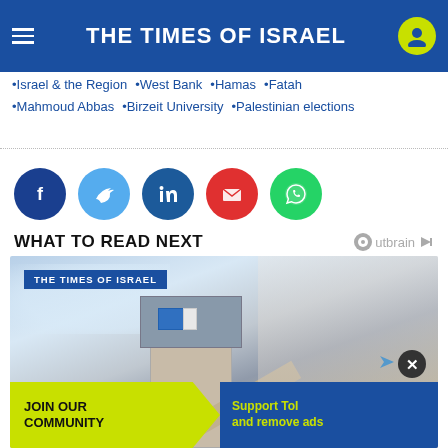THE TIMES OF ISRAEL
Israel & the Region • West Bank • Hamas • Fatah
Mahmoud Abbas • Birzeit University • Palestinian elections
[Figure (infographic): Social sharing buttons: Facebook, Twitter, LinkedIn, Email, WhatsApp]
WHAT TO READ NEXT
[Figure (photo): A watchtower or military observation tower with an Israeli flag, photographed from below against a sky with clouds. Overlay shows Times of Israel branding and bottom ad bar saying JOIN OUR COMMUNITY / Support ToI and remove ads]